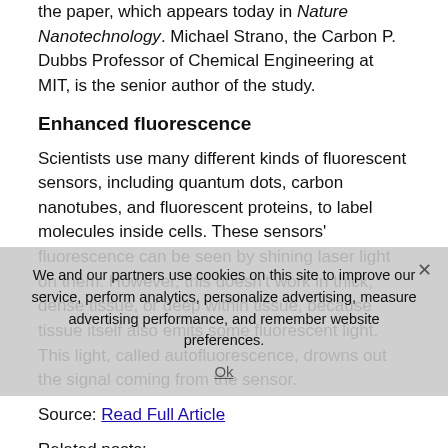the paper, which appears today in Nature Nanotechnology. Michael Strano, the Carbon P. Dubbs Professor of Chemical Engineering at MIT, is the senior author of the study.
Enhanced fluorescence
Scientists use many different kinds of fluorescent sensors, including quantum dots, carbon nanotubes, and fluorescent proteins, to label molecules inside cells. These sensors' fluorescence can be seen by shining laser light on them. However, this doesn't work in thick, dense tissue, or deep within tissue, because tissue itself also emits some fluorescent light. This light, called autofluorescence, drowns out the signal coming from the sensor.
Source: Read Full Article
Related posts: